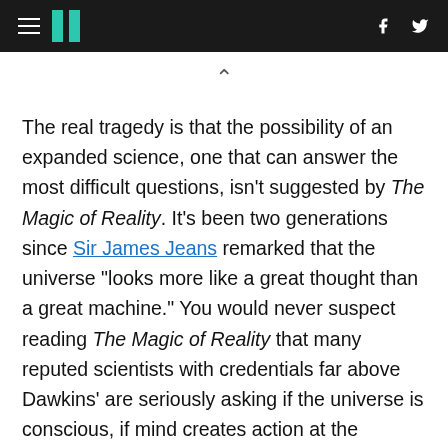HuffPost navigation header with hamburger menu, logo, Facebook and Twitter icons
^ (caret/up chevron symbol)
The real tragedy is that the possibility of an expanded science, one that can answer the most difficult questions, isn't suggested by The Magic of Reality. It's been two generations since Sir James Jeans remarked that the universe "looks more like a great thought than a great machine." You would never suspect reading The Magic of Reality that many reputed scientists with credentials far above Dawkins' are seriously asking if the universe is conscious, if mind creates action at the subatomic level, if purpose can be understood as a property of the cosmos,